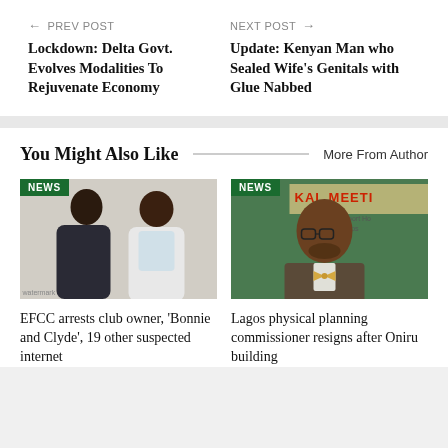← PREV POST
Lockdown: Delta Govt. Evolves Modalities To Rejuvenate Economy
NEXT POST →
Update: Kenyan Man who Sealed Wife's Genitals with Glue Nabbed
You Might Also Like
More From Author
[Figure (photo): Two people with their backs to the camera with NEWS badge overlay]
[Figure (photo): Man in suit with bow tie at meeting with NEWS badge overlay, text KAL MEETI, Airport Hp, Lagos]
EFCC arrests club owner, 'Bonnie and Clyde', 19 other suspected internet
Lagos physical planning commissioner resigns after Oniru building